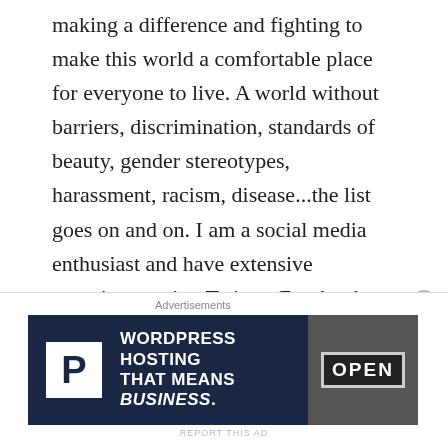making a difference and fighting to make this world a comfortable place for everyone to live. A world without barriers, discrimination, standards of beauty, gender stereotypes, harassment, racism, disease...the list goes on and on. I am a social media enthusiast and have extensive experience using Twitter, Facebook, blogs and LinkedIn to market brands and initiatives. I recently completed the post-graduate Event Management program at Humber College Institute of Technology and Advanced Learning (ITAL), from which I
Advertisements
[Figure (other): Advertisement banner for WordPress Hosting with dark navy background, white P logo in a box on left, text 'WORDPRESS HOSTING THAT MEANS BUSINESS.' in white bold, and an image of an OPEN sign on the right.]